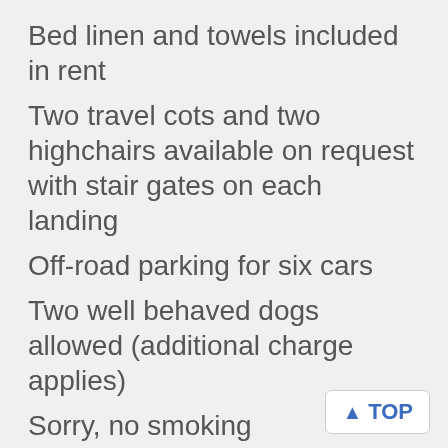Bed linen and towels included in rent
Two travel cots and two highchairs available on request with stair gates on each landing
Off-road parking for six cars
Two well behaved dogs allowed (additional charge applies)
Sorry, no smoking
Shop 4 miles, pub 3 miles, coast less than 6 miles
Note: Please bring your own beach towels and cot linen
Note: If you are a smaller group (8 or